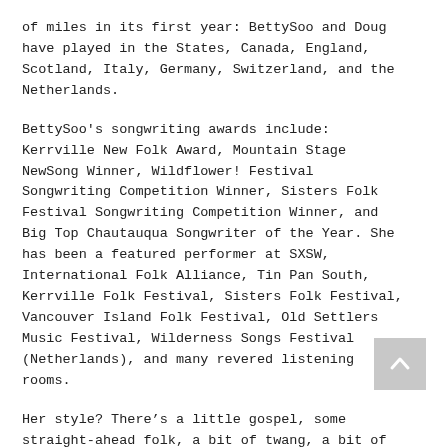of miles in its first year: BettySoo and Doug have played in the States, Canada, England, Scotland, Italy, Germany, Switzerland, and the Netherlands.
BettySoo's songwriting awards include: Kerrville New Folk Award, Mountain Stage NewSong Winner, Wildflower! Festival Songwriting Competition Winner, Sisters Folk Festival Songwriting Competition Winner, and Big Top Chautauqua Songwriter of the Year. She has been a featured performer at SXSW, International Folk Alliance, Tin Pan South, Kerrville Folk Festival, Sisters Folk Festival, Vancouver Island Folk Festival, Old Settlers Music Festival, Wilderness Songs Festival (Netherlands), and many revered listening rooms.
Her style? There's a little gospel, some straight-ahead folk, a bit of twang, a bit of